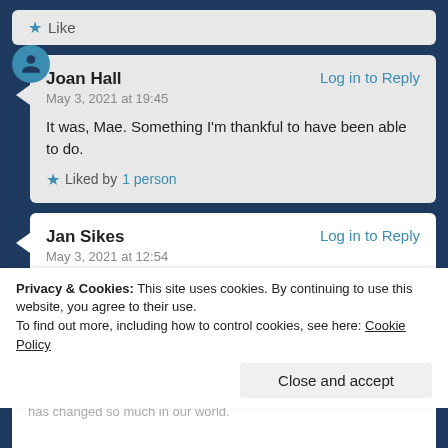Like
Joan Hall
May 3, 2021 at 19:45
It was, Mae. Something I'm thankful to have been able to do.
Liked by 1 person
Log in to Reply
Jan Sikes
May 3, 2021 at 12:54
Log in to Reply
Privacy & Cookies: This site uses cookies. By continuing to use this website, you agree to their use.
To find out more, including how to control cookies, see here: Cookie Policy
Close and accept
has changed so much in our world.